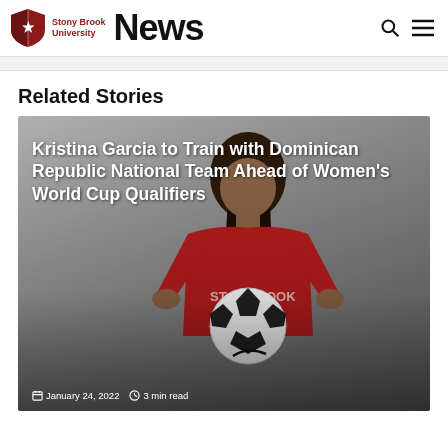Stony Brook University News
Related Stories
[Figure (photo): Photo of Kristina Garcia, a soccer player in a red Stony Brook jersey holding a soccer ball, with a gray background. Overlaid white bold text reads: 'Kristina Garcia to Train with Dominican Republic National Team Ahead of Women's World Cup Qualifiers'. Below: calendar icon with 'January 24, 2022' and clock icon with '3 min read'.]